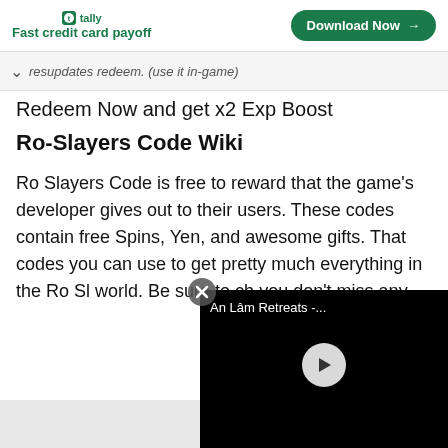tally — Fast credit card payoff | Download Now
…resupdates redeem. (use it in-game)
Redeem Now and get x2 Exp Boost
Ro-Slayers Code Wiki
Ro Slayers Code is free to reward that the game's developer gives out to their users. These codes contain free Spins, Yen, and awesome gifts. That codes you can use to get pretty much everything in the Ro Sl... world. Be sure to ch... you don't miss any...
[Figure (screenshot): Video player overlay showing 'An Lâm Retreats -...' title with play button on black background, and a circular close (X) button]